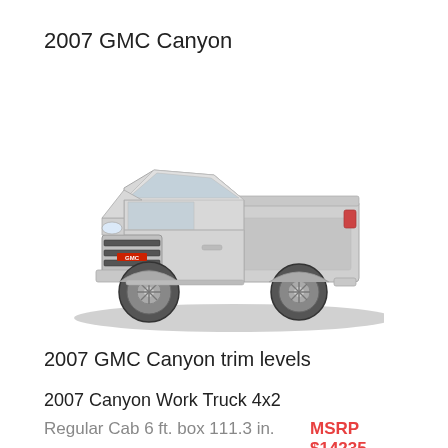2007 GMC Canyon
[Figure (photo): Photo of a 2007 GMC Canyon silver regular cab pickup truck, three-quarter front view on white background]
2007 GMC Canyon trim levels
2007 Canyon Work Truck 4x2
Regular Cab 6 ft. box 111.3 in.    MSRP $14235